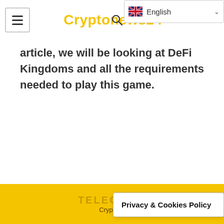Cryptonews24
article, we will be looking at DeFi Kingdoms and all the requirements needed to play this game.
TELEGRAM
Crypto  Privacy & Cookies Policy